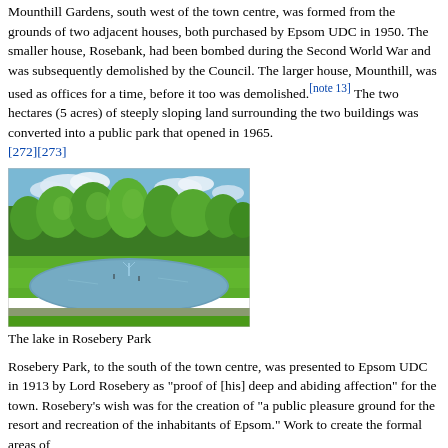Mounthill Gardens, south west of the town centre, was formed from the grounds of two adjacent houses, both purchased by Epsom UDC in 1950. The smaller house, Rosebank, had been bombed during the Second World War and was subsequently demolished by the Council. The larger house, Mounthill, was used as offices for a time, before it too was demolished.[note 13] The two hectares (5 acres) of steeply sloping land surrounding the two buildings was converted into a public park that opened in 1965. [272][273]
[Figure (photo): A photograph of the lake in Rosebery Park, showing a calm pond with a fountain, green lawn, and tall trees under a partly cloudy sky.]
The lake in Rosebery Park
Rosebery Park, to the south of the town centre, was presented to Epsom UDC in 1913 by Lord Rosebery as "proof of [his] deep and abiding affection" for the town. Rosebery's wish was for the creation of "a public pleasure ground for the resort and recreation of the inhabitants of Epsom." Work to create the formal areas of